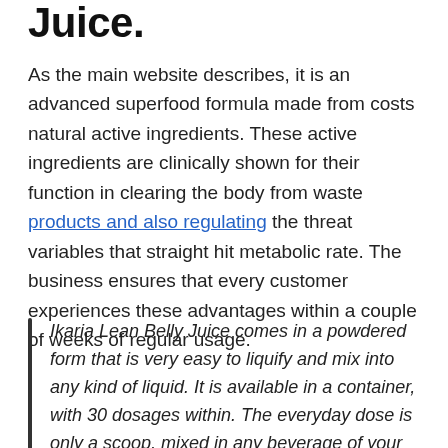Juice.
As the main website describes, it is an advanced superfood formula made from costs natural active ingredients. These active ingredients are clinically shown for their function in clearing the body from waste products and also regulating the threat variables that straight hit metabolic rate. The business ensures that every customer experiences these advantages within a couple of weeks of regular usage.
Ikaria Lean Belly Juice comes in a powdered form that is very easy to liquify and mix into any kind of liquid. It is available in a container, with 30 dosages within. The everyday dose is only a scoop, mixed in any beverage of your selection.